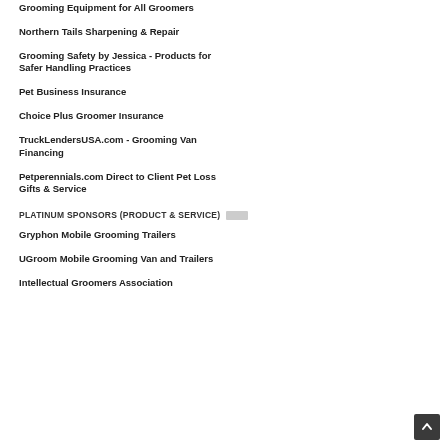Grooming Equipment for All Groomers
Northern Tails Sharpening & Repair
Grooming Safety by Jessica - Products for Safer Handling Practices
Pet Business Insurance
Choice Plus Groomer Insurance
TruckLendersUSA.com - Grooming Van Financing
Petperennials.com Direct to Client Pet Loss Gifts & Service
PLATINUM SPONSORS (PRODUCT & SERVICE)
Gryphon Mobile Grooming Trailers
UGroom Mobile Grooming Van and Trailers
Intellectual Groomers Association